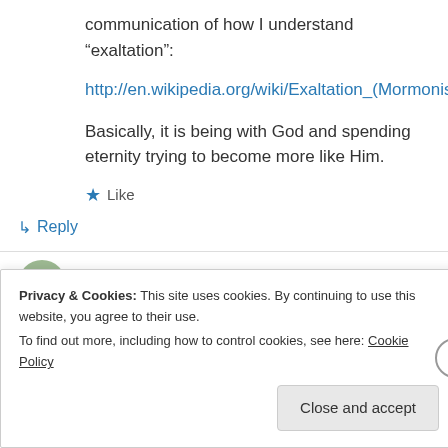communication of how I understand “exaltation”:
http://en.wikipedia.org/wiki/Exaltation_(Mormonism)
Basically, it is being with God and spending eternity trying to become more like Him.
★ Like
↳ Reply
Doug Dwyer on May 16, 2012 at 9:01 am
Privacy & Cookies: This site uses cookies. By continuing to use this website, you agree to their use.
To find out more, including how to control cookies, see here: Cookie Policy
Close and accept